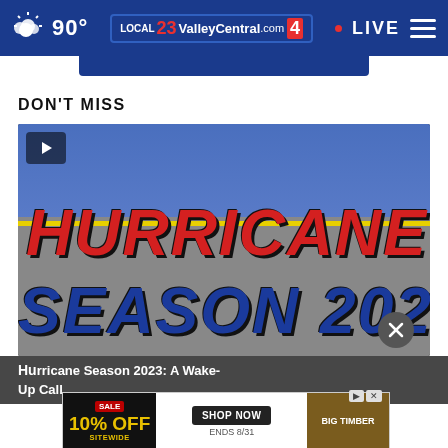90° ValleyCentral.com 23 4 LIVE
DON'T MISS
[Figure (screenshot): Hurricane Season 2023 video thumbnail with play button, showing large red text HURRICANE and blue text SEASON 202 on a graphic background]
Hurricane Season 2023: A Wake-Up Call
[Figure (screenshot): Advertisement banner: SALE 10% OFF SITEWIDE, SHOP NOW, ENDS 8/31, BIG TIMBER]